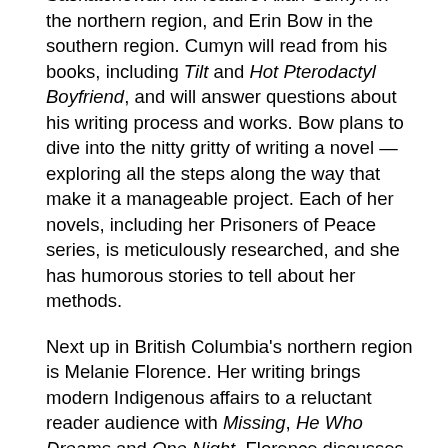Saskatchewan will feature Allan Cumyn in the northern region, and Erin Bow in the southern region. Cumyn will read from his books, including Tilt and Hot Pterodactyl Boyfriend, and will answer questions about his writing process and works. Bow plans to dive into the nitty gritty of writing a novel — exploring all the steps along the way that make it a manageable project. Each of her novels, including her Prisoners of Peace series, is meticulously researched, and she has humorous stories to tell about her methods.
Next up in British Columbia's northern region is Melanie Florence. Her writing brings modern Indigenous affairs to a reluctant reader audience with Missing, He Who Dreams and One Night. Florence discusses the history of Indigenous people in Canada with students, delving into the long-term impact of residential schools, as well as the day-to-day issues of high suicide rates, the need for clean drinking water on reserves and the missing Indigenous women.
Last, but not least, Emil Sher is going to the Yukon. Author of Young Man With Camera, Sher uses his talents as a children's author and a playwright to offer many presentations about the different hats he wears and the unique challenges of each project he's worked on.